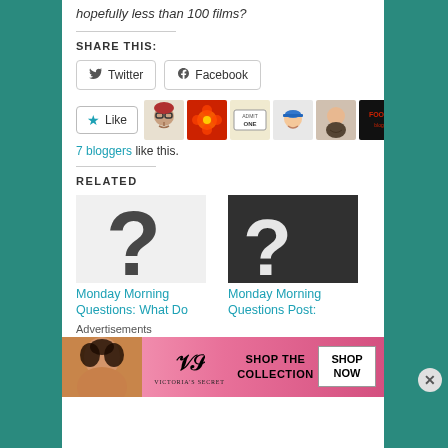hopefully less than 100 films?
SHARE THIS:
[Figure (screenshot): Twitter and Facebook share buttons]
[Figure (screenshot): Like button with 7 blogger avatars]
7 bloggers like this.
RELATED
[Figure (illustration): Two related article thumbnails with question mark images and blue linked titles: Monday Morning Questions: What Do... and Monday Morning Questions Post:]
Advertisements
[Figure (infographic): Victoria's Secret advertisement banner: SHOP THE COLLECTION, SHOP NOW]